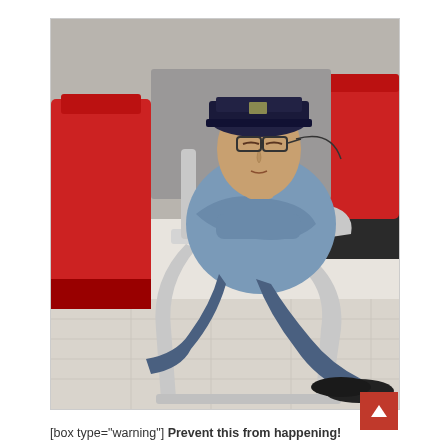[Figure (photo): A security guard or official wearing a dark uniform cap and light blue shirt with arms crossed, sleeping in a chrome-framed cantilever office chair. Behind him are red chairs and a dark desk in what appears to be an office or public building lobby. He is wearing dark loafers.]
[box type="warning"] Prevent this from happening!